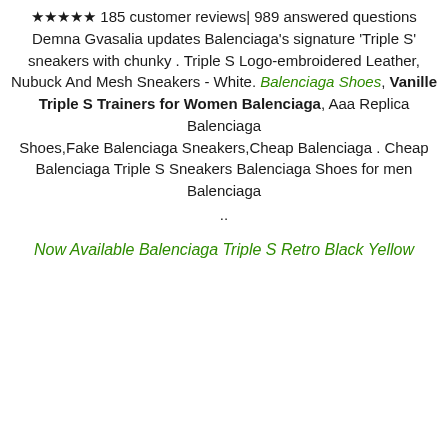★★★★★ 185 customer reviews| 989 answered questions Demna Gvasalia updates Balenciaga's signature 'Triple S' sneakers with chunky . Triple S Logo-embroidered Leather, Nubuck And Mesh Sneakers - White. Balenciaga Shoes, Vanille Triple S Trainers for Women Balenciaga, Aaa Replica Balenciaga Shoes,Fake Balenciaga Sneakers,Cheap Balenciaga . Cheap Balenciaga Triple S Sneakers Balenciaga Shoes for men Balenciaga
..
Now Available Balenciaga Triple S Retro Black Yellow